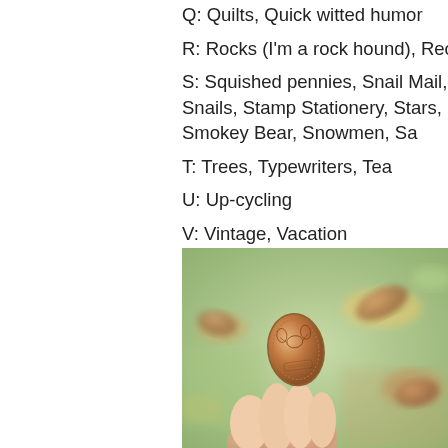Q: Quilts, Quick witted humor
R: Rocks (I'm a rock hound), Recycling, Reading
S: Squished pennies, Snail Mail, Snails, Stamps, Stationery, Stars, Smokey Bear, Snowmen, Sa...
T: Trees, Typewriters, Tea
U: Up-cycling
V: Vintage, Vacation
W: Weekends, Wilderness
X: 🐉
Y: Yarn
Z: Zucchini, Zoology, Zines
[Figure (photo): A hand holding a squished/pressed penny coin with a face design on it, with other pennies visible in the blurred background on a colorful surface]